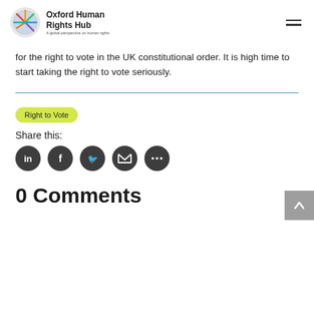Oxford Human Rights Hub — A global perspective on human rights
for the right to vote in the UK constitutional order. It is high time to start taking the right to vote seriously.
Right to Vote
Share this:
[Figure (infographic): Social share icons: LinkedIn, Facebook, Twitter, Email, More (dark circular buttons)]
0 Comments